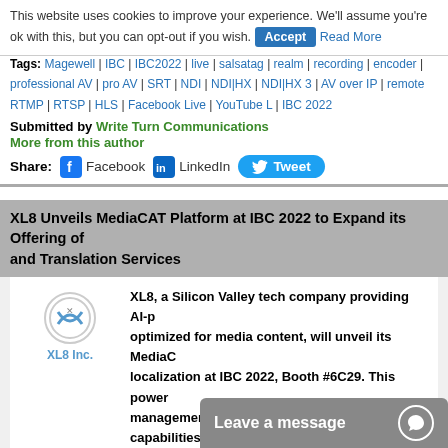This website uses cookies to improve your experience. We'll assume you're ok with this, but you can opt-out if you wish. Accept Read More
Tags: Magewell | IBC | IBC2022 | live | salsatag | realm | recording | encoder | professional AV | pro AV | SRT | NDI | NDI|HX | NDI|HX 3 | AV over IP | remote | RTMP | RTSP | HLS | Facebook Live | YouTube L | IBC 2022
Submitted by Write Turn Communications
More from this author
Share: Facebook LinkedIn Tweet
XL8 Unveils MediaCAT Platform at IBC 2022 to Expand its Offering of and Translation Services
XL8, a Silicon Valley tech company providing AI-p optimized for media content, will unveil its MediaC localization at IBC 2022, Booth #6C29. This power management, editing, and automation capabilities services.
Tags: XL8 | Localization | IBC 2022 | MediaCAT | IBC 2022
Submitted by Bubble agency
More from this author
Share: Facebook
Leave a message